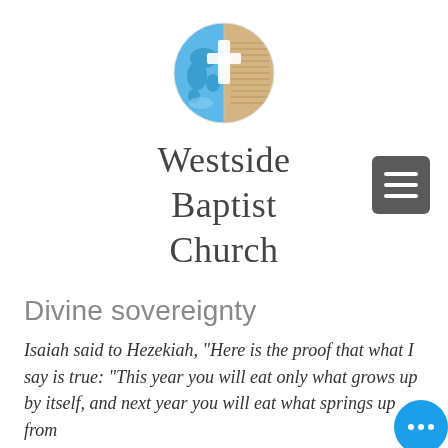[Figure (logo): Westside Baptist Church logo: a circle split into two halves — the left half is a blue globe/world map, the right half is a tan/gold Bible with text and a white cross overlaid in the center.]
Westside Baptist Church
[Figure (other): Hamburger menu button: a dark gray rounded square with three horizontal white lines (≡).]
Divine sovereignty
Isaiah said to Hezekiah, "Here is the proof that what I say is true: "This year you will eat only what grows up by itself, and next year you will eat what springs up from